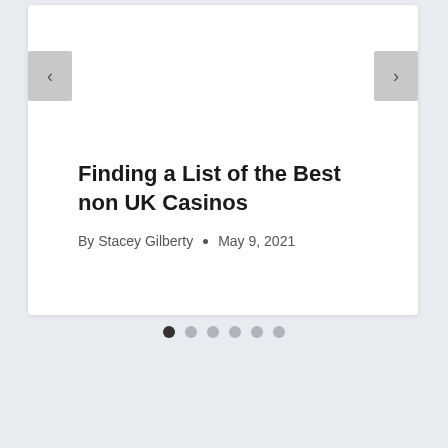Finding a List of the Best non UK Casinos
By Stacey Gilberty • May 9, 2021
[Figure (screenshot): Website carousel/slider UI with left and right navigation arrow buttons, pagination dots at the bottom (6 dots, first one active/dark).]